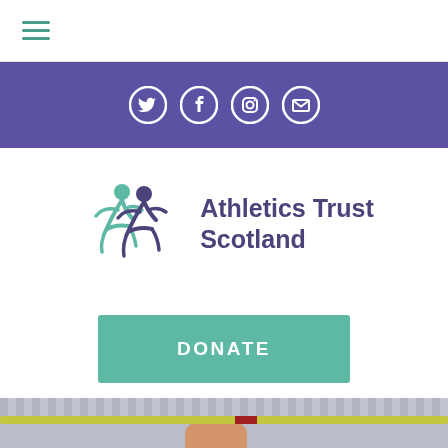Navigation menu (hamburger icon)
[Figure (infographic): Purple social media bar with Twitter, Facebook, Instagram, and Email icons in white circles]
[Figure (logo): Athletics Trust Scotland logo with two stylized running figures in teal and purple, next to text 'Athletics Trust Scotland']
DONATE